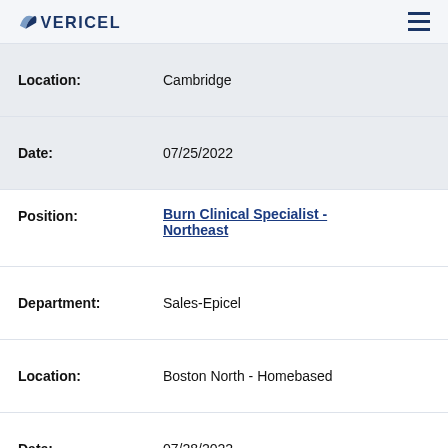VERICEL
| Field | Value |
| --- | --- |
| Location: | Cambridge |
| Date: | 07/25/2022 |
| Position: | Burn Clinical Specialist - Northeast |
| Department: | Sales-Epicel |
| Location: | Boston North - Homebased |
| Date: | 07/28/2022 |
| Position: | Compliance Specialist, Cell Therapy Manufacturing |
| Department: | Manufacturing |